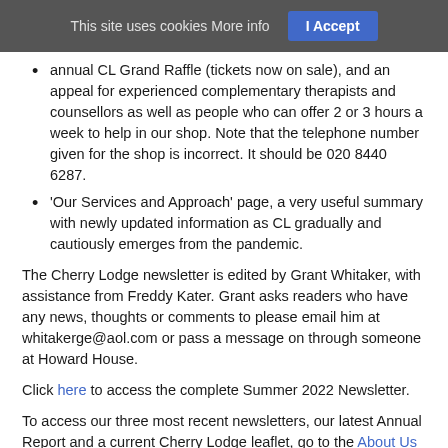This site uses cookies More info | I Accept
annual CL Grand Raffle (tickets now on sale), and an appeal for experienced complementary therapists and counsellors as well as people who can offer 2 or 3 hours a week to help in our shop. Note that the telephone number given for the shop is incorrect. It should be 020 8440 6287.
'Our Services and Approach' page, a very useful summary with newly updated information as CL gradually and cautiously emerges from the pandemic.
The Cherry Lodge newsletter is edited by Grant Whitaker, with assistance from Freddy Kater. Grant asks readers who have any news, thoughts or comments to please email him at whitakerge@aol.com or pass a message on through someone at Howard House.
Click here to access the complete Summer 2022 Newsletter.
To access our three most recent newsletters, our latest Annual Report and a current Cherry Lodge leaflet, go to the About Us page of the website and then click on the appropriate item in the right-hand column under Downloads.